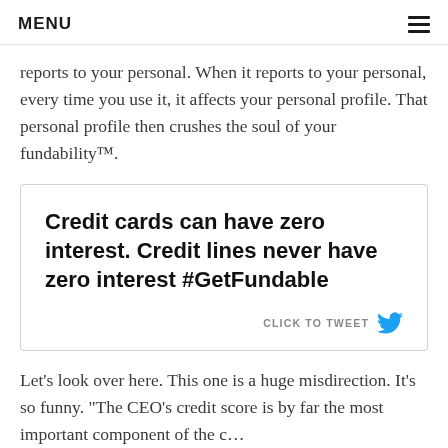MENU
reports to your personal. When it reports to your personal, every time you use it, it affects your personal profile. That personal profile then crushes the soul of your fundability™.
[Figure (infographic): Tweet quote box with text: 'Credit cards can have zero interest. Credit lines never have zero interest #GetFundable' with a 'CLICK TO TWEET' button and Twitter bird icon.]
Let's look over here. This one is a huge misdirection. It's so funny. "The CEO's credit score is by far the most important component of the c...